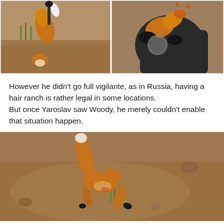[Figure (photo): Two-panel photo: left panel shows a fox hanging by its leg from a trap held by a gloved hand, rocky/dirt ground with grass; right panel shows a person in a dark jacket and black gloves holding a fox.]
However he didn't go full vigilante, as in Russia, having a hair ranch is rather legal in some locations.
But once Yaroslav saw Woody, he merely couldn't enable that situation happen.
[Figure (photo): Photo of a fox lying on rocky/dirt ground, viewed from above, with its bushy tail raised and legs visible, appearing injured or trapped.]